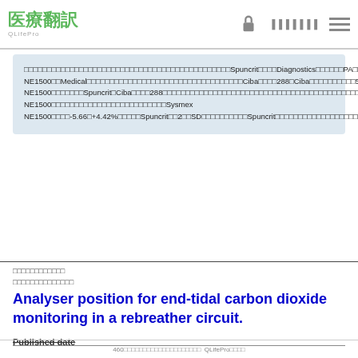医療翻訳 QLifePro
□□□□□□□□□□□□□□□□□□□□□□□□□□□□□□□□□□□□□□□□□□□□Spuncrit□□□□Diagnostics□□□□□□PA□□□□□□□□□□□□□□□□□□□□□□□□□□□□□□□□□□□Sysmex NE1500□□Medical□□□□□□□□□□□□□□□□□□□□□□□□□□□□□□□□□□Ciba□□□□288□Ciba□□□□□□□□□□50□□□□□□□□217□□□□□□□□□□□□0.85□0.92□□□□Spuncrit□Sysmex NE1500□□□□□□□Spuncrit□Ciba□□□□288□□□□□□□□□□□□□□□□□□□□□□□□□□□□□□□□□□□□□□□□□□□Spuncrit□Sysmex NE1500□□□□□□□□□□□□□□□□□□□□□□□□□Sysmex NE1500□□□□-5.66□+4.42%□□□□□Spuncrit□□2□□SD□□□□□□□□□□Spuncrit□□□□□□□□□□□□□□□□□□□□□□□□□□□□□□□□□□□□□□□□□□□□□□3□□□□□□□□□□□
□□□□□□□□□□□□ □□□□□□□□□□□□□□
Analyser position for end-tidal carbon dioxide monitoring in a rebreather circuit.
Published date
460□□□□□□□□□□□□□□□□□□□□ QLifePro□□□□